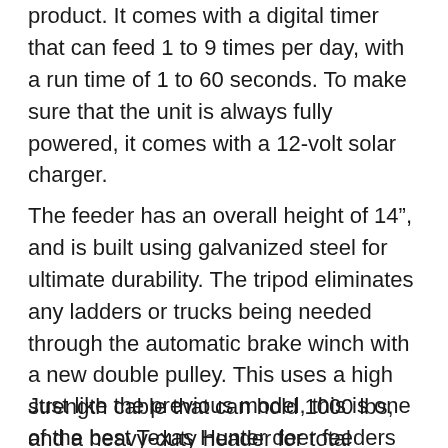product. It comes with a digital timer that can feed 1 to 9 times per day, with a run time of 1 to 60 seconds. To make sure that the unit is always fully powered, it comes with a 12-volt solar charger.
The feeder has an overall height of 14”, and is built using galvanized steel for ultimate durability. The tripod eliminates any ladders or trucks being needed through the automatic brake winch with a new double pulley. This uses a high strength cable that can hold 1000 lbs, and a heavy-duty header for total support.
Just like the previous model, this is one of the best Texas Hunter deer feeders thanks to its innovative features. These include the stainless